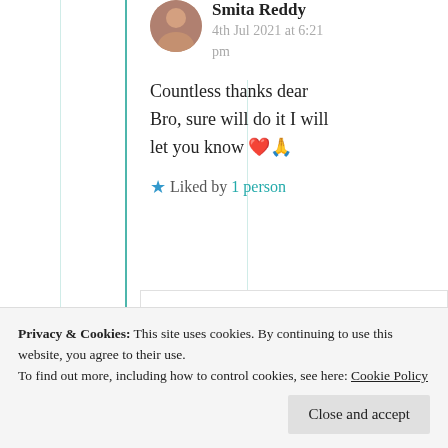Smita Reddy
4th Jul 2021 at 6:21 pm
Countless thanks dear Bro, sure will do it I will let you know ❤️🙏
★ Liked by 1 person
Okay didn't I'll waiting 👀
Privacy & Cookies: This site uses cookies. By continuing to use this website, you agree to their use. To find out more, including how to control cookies, see here: Cookie Policy
Close and accept